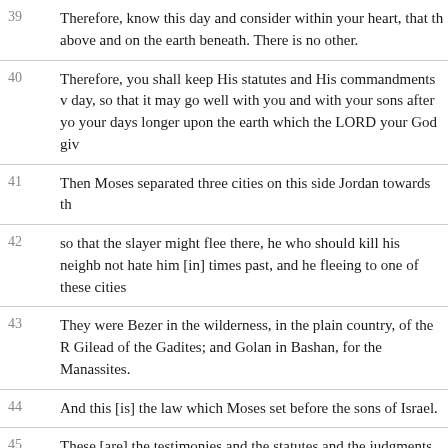39 Therefore, know this day and consider within your heart, that the LORD He [is] God in heaven above and on the earth beneath. There is no other.
40 Therefore, you shall keep His statutes and His commandments which I command you this day, so that it may go well with you and with your sons after you, and that you may prolong your days longer upon the earth which the LORD your God gives you forever.
41 Then Moses separated three cities on this side Jordan towards the sunrise,
42 so that the slayer might flee there, he who should kill his neighbor unintentionally, and did not hate him [in] times past, and he fleeing to one of these cities,
43 They were Bezer in the wilderness, in the plain country, of the Reubenites; and Ramoth in Gilead of the Gadites; and Golan in Bashan, for the Manassites.
44 And this [is] the law which Moses set before the sons of Israel.
45 These [are] the testimonies and the statutes and the judgments which Moses spoke to the sons of Israel after they came forth out of Egypt,